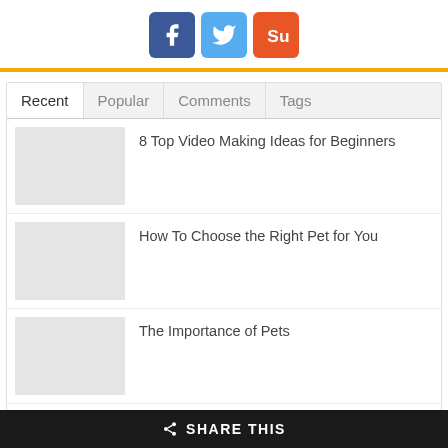[Figure (infographic): Three social media share buttons: Facebook (blue), Twitter (light blue), StumbleUpon (orange-red)]
Recent
Popular
Comments
Tags
8 Top Video Making Ideas for Beginners
How To Choose the Right Pet for You
The Importance of Pets
6 Plumbing Issues You May Experience in a New
SHARE THIS